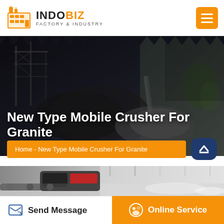INDOBIZ FACTORY & INDUSTRY
[Figure (screenshot): Hero banner with industrial machinery/crusher plant background, dark overlay, showing a large aggregate/stone crushing facility. Zigzag decorative border at top.]
New Type Mobile Crusher For Granite
Home - New Type Mobile Crusher For Granite
[Figure (photo): Photo of a mobile crusher machine in an industrial warehouse/factory setting, showing a conveyor belt mechanism with red components, taken inside a large facility with natural lighting.]
Send Message
Online Service